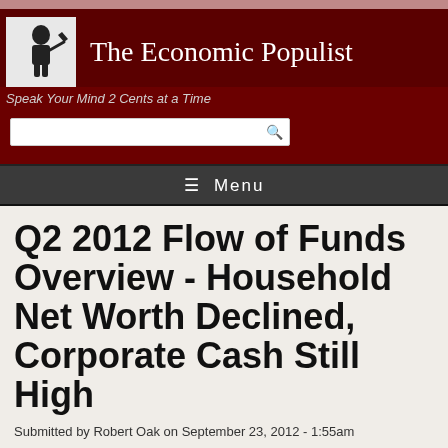The Economic Populist
Speak Your Mind 2 Cents at a Time
Q2 2012 Flow of Funds Overview - Household Net Worth Declined, Corporate Cash Still High
Submitted by Robert Oak on September 23, 2012 - 1:55am